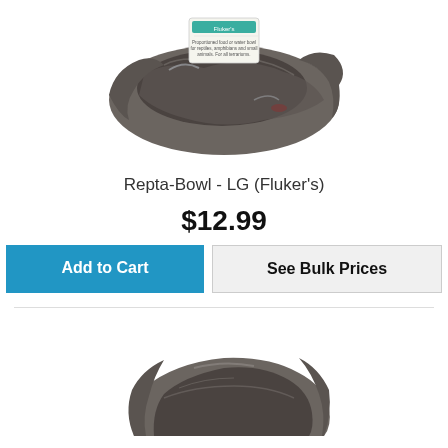[Figure (photo): A large rock-like reptile bowl (Fluker's Repta-Bowl LG) with a product label visible on top, shown against a white background.]
Repta-Bowl - LG (Fluker's)
$12.99
Add to Cart
See Bulk Prices
[Figure (photo): A large dark grey rock-textured reptile bowl (Fluker's Repta-Bowl) shown from above at an angle, white background, partially cropped at bottom.]